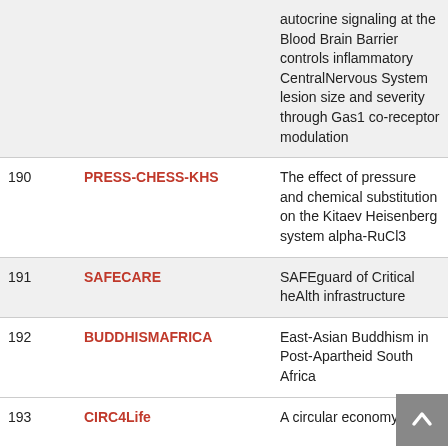| # | Project | Title |
| --- | --- | --- |
|  |  | autocrine signaling at the Blood Brain Barrier controls inflammatory CentralNervous System lesion size and severity through Gas1 co-receptor modulation |
| 190 | PRESS-CHESS-KHS | The effect of pressure and chemical substitution on the Kitaev Heisenberg system alpha-RuCl3 |
| 191 | SAFECARE | SAFEguard of Critical heAlth infrastructure |
| 192 | BUDDHISMAFRICA | East-Asian Buddhism in Post-Apartheid South Africa |
| 193 | CIRC4Life | A circular economy... |